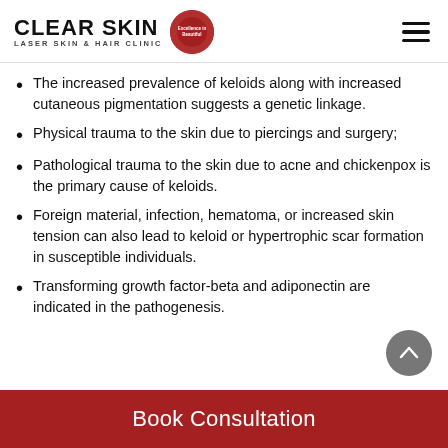CLEAR SKIN LASER SKIN & HAIR CLINIC
The increased prevalence of keloids along with increased cutaneous pigmentation suggests a genetic linkage.
Physical trauma to the skin due to piercings and surgery;
Pathological trauma to the skin due to acne and chickenpox is the primary cause of keloids.
Foreign material, infection, hematoma, or increased skin tension can also lead to keloid or hypertrophic scar formation in susceptible individuals.
Transforming growth factor-beta and adiponectin are indicated in the pathogenesis.
Book Consultation